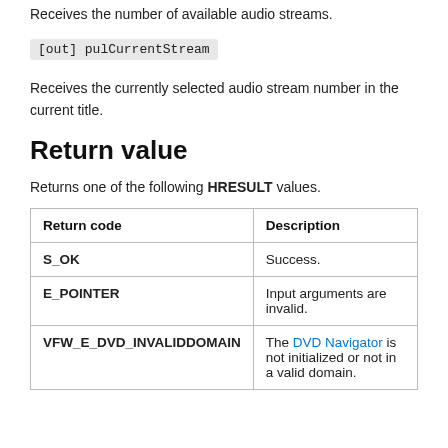Receives the number of available audio streams.
[out] pulCurrentStream
Receives the currently selected audio stream number in the current title.
Return value
Returns one of the following HRESULT values.
| Return code | Description |
| --- | --- |
| S_OK | Success. |
| E_POINTER | Input arguments are invalid. |
| VFW_E_DVD_INVALIDDOMAIN | The DVD Navigator is not initialized or not in a valid domain. |